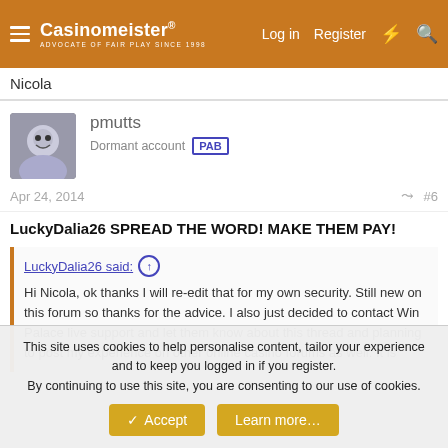Casinomeister® — Log in  Register
Nicola
pmutts
Dormant account  PAB
Apr 24, 2014  #6
LuckyDalia26 SPREAD THE WORD! MAKE THEM PAY!
LuckyDalia26 said: ↑

Hi Nicola, ok thanks I will re-edit that for my own security. Still new on this forum so thanks for the advice. I also just decided to contact Win Palace live support and let them know about this thread and planning to post my experience on other online casino forums as well. It is
This site uses cookies to help personalise content, tailor your experience and to keep you logged in if you register.
By continuing to use this site, you are consenting to our use of cookies.

Accept  Learn more...